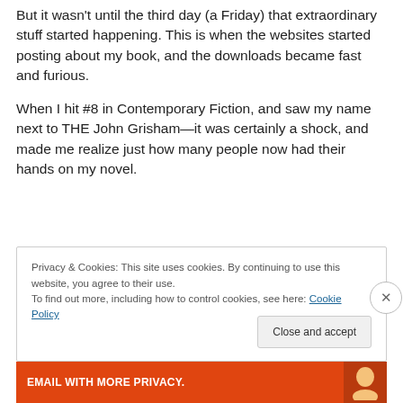But it wasn't until the third day (a Friday) that extraordinary stuff started happening. This is when the websites started posting about my book, and the downloads became fast and furious.
When I hit #8 in Contemporary Fiction, and saw my name next to THE John Grisham—it was certainly a shock, and made me realize just how many people now had their hands on my novel.
Privacy & Cookies: This site uses cookies. By continuing to use this website, you agree to their use.
To find out more, including how to control cookies, see here: Cookie Policy
[Figure (other): Bottom banner with orange background, partial text visible about email privacy, and a character icon on the right]